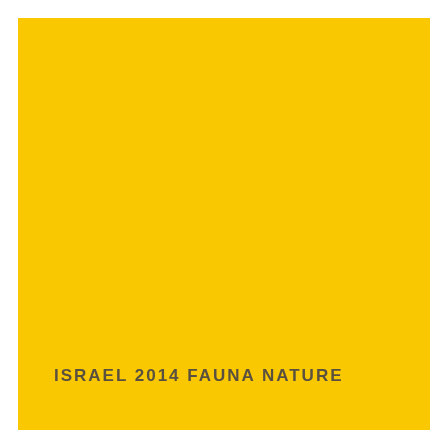[Figure (illustration): Solid bright yellow/golden rectangular background block filling most of the page, with a faint watermark-style animal or nature imagery visible on the yellow surface.]
ISRAEL 2014 FAUNA NATURE